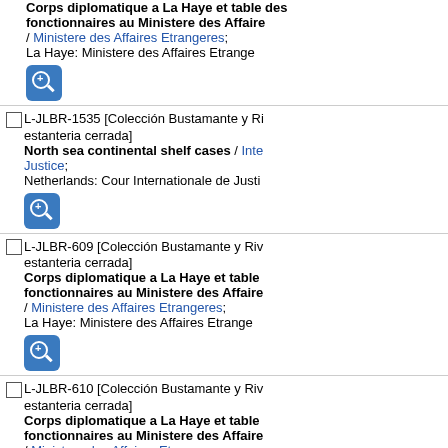Corps diplomatique a La Haye et table des fonctionnaires au Ministere des Affaires / Ministere des Affaires Etrangeres; La Haye: Ministere des Affaires Etrangeres
L-JLBR-1535 [Colección Bustamante y Rivero, estanteria cerrada] North sea continental shelf cases / Inte... Justice; Netherlands: Cour Internationale de Justi...
L-JLBR-609 [Colección Bustamante y Rivero, estanteria cerrada] Corps diplomatique a La Haye et table des fonctionnaires au Ministere des Affaires / Ministere des Affaires Etrangeres; La Haye: Ministere des Affaires Etrangeres
L-JLBR-610 [Colección Bustamante y Rivero, estanteria cerrada] Corps diplomatique a La Haye et table des fonctionnaires au Ministere des Affaires / Ministere des Affaires Etrangeres; La Haye: Ministere des Affaires Etrangeres